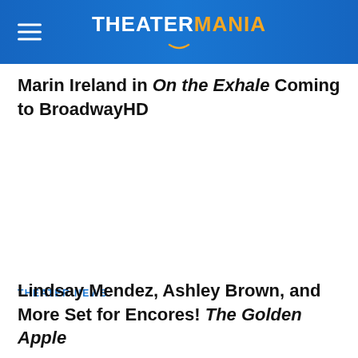THEATERMANIA
Marin Ireland in On the Exhale Coming to BroadwayHD
THEATER NEWS
Lindsay Mendez, Ashley Brown, and More Set for Encores! The Golden Apple